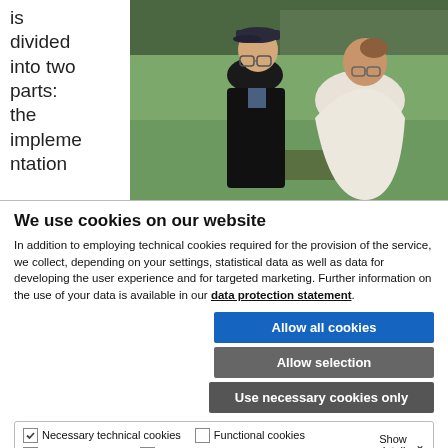is divided into two parts: the implementation
[Figure (photo): Two people standing outdoors in a green field with trees in the background. One person wears a dark jacket and cap, the other a white shawl.]
We use cookies on our website
In addition to employing technical cookies required for the provision of the service, we collect, depending on your settings, statistical data as well as data for developing the user experience and for targeted marketing. Further information on the use of your data is available in our data protection statement.
Allow all cookies
Allow selection
Use necessary cookies only
Necessary technical cookies | Functional cookies | Statistics cookies | Marketing cookies | Show details